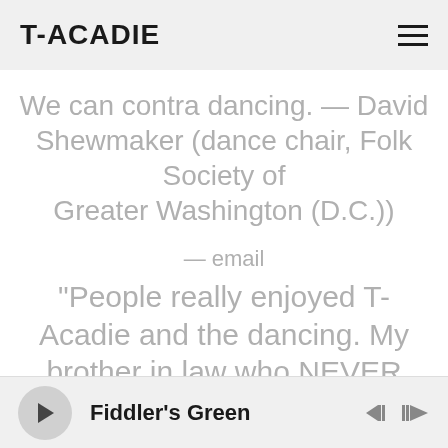T-ACADIE
We can contra dancing. — David Shewmaker (dance chair, Folk Society of Greater Washington (D.C.))
— email
“People really enjoyed T-Acadie and the dancing. My brother in law who NEVER dances said to me on Sunday that he could do that all night. His wife couldn't believe
Fiddler's Green